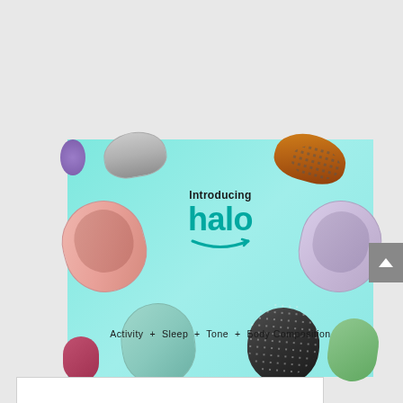[Figure (photo): Amazon Halo fitness tracker advertisement image showing multiple colorful fitness band variants arranged around central text on a mint/teal background. Text reads 'Introducing halo' with Amazon smile logo. Below: 'Activity + Sleep + Tone + Body Composition'. Bands include gray woven, orange perforated, pink, lavender, mint, black dotted, green dotted varieties.]